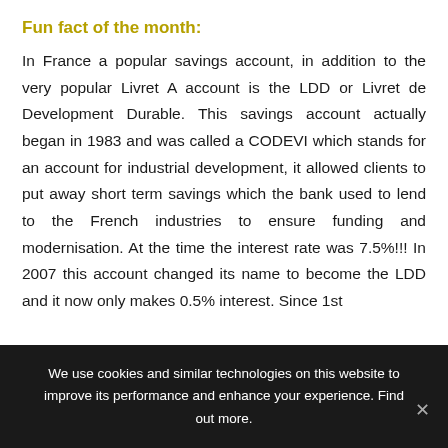Fun fact of the month:
In France a popular savings account, in addition to the very popular Livret A account is the LDD or Livret de Development Durable. This savings account actually began in 1983 and was called a CODEVI which stands for an account for industrial development, it allowed clients to put away short term savings which the bank used to lend to the French industries to ensure funding and modernisation. At the time the interest rate was 7.5%!!! In 2007 this account changed its name to become the LDD and it now only makes 0.5% interest. Since 1st
We use cookies and similar technologies on this website to improve its performance and enhance your experience. Find out more.